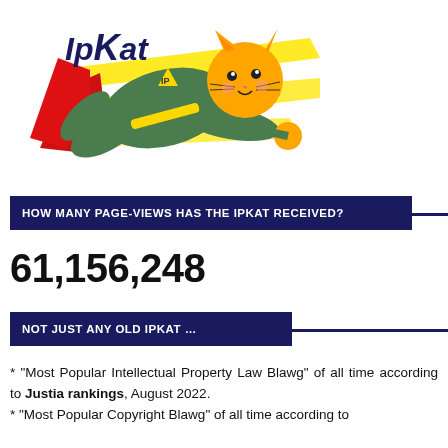[Figure (illustration): IPKat logo: cartoon cat in green superhero costume with red cape and yellow 'IP' triangle emblem, flying, with yellow speed lines. Text 'IPKat' in dark blue above.]
HOW MANY PAGE-VIEWS HAS THE IPKAT RECEIVED?
61,156,248
NOT JUST ANY OLD IPKAT …
* "Most Popular Intellectual Property Law Blawg" of all time according to Justia rankings, August 2022.
* "Most Popular Copyright Blawg" of all time according to